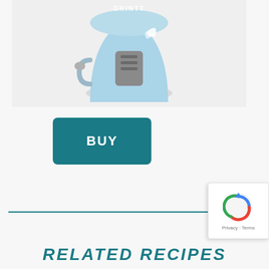[Figure (photo): Light blue countertop kitchen appliance (blender/food processor) shown from front, with gray accents and leaf logo, on light gray background]
BUY
RELATED RECIPES